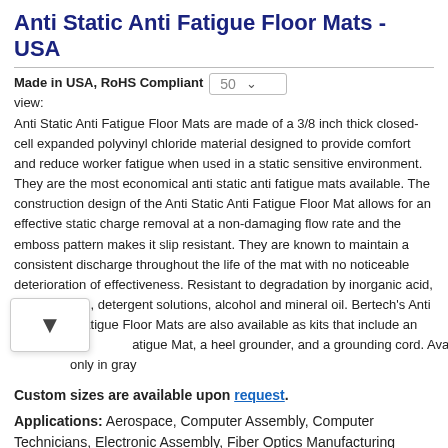Anti Static Anti Fatigue Floor Mats - USA
Made in USA, RoHS Compliant
view: 50
Anti Static Anti Fatigue Floor Mats are made of a 3/8 inch thick closed-cell expanded polyvinyl chloride material designed to provide comfort and reduce worker fatigue when used in a static sensitive environment. They are the most economical anti static anti fatigue mats available. The construction design of the Anti Static Anti Fatigue Floor Mat allows for an effective static charge removal at a non-damaging flow rate and the emboss pattern makes it slip resistant. They are known to maintain a consistent discharge throughout the life of the mat with no noticeable deterioration of effectiveness. Resistant to degradation by inorganic acid, organic acids, detergent solutions, alcohol and mineral oil. Bertech's Anti Static Anti Fatigue Floor Mats are also available as kits that include an Anti Static atigue Mat, a heel grounder, and a grounding cord. Available only in gray
Custom sizes are available upon request.
Applications: Aerospace, Computer Assembly, Computer Technicians, Electronic Assembly, Fiber Optics Manufacturing
|  |  |
| --- | --- |
| Part Number | AF series |
| Color | Gray |
| Brand Name | Bertech |